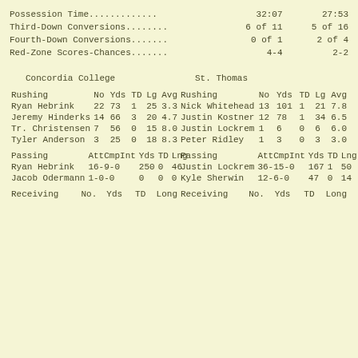| Stat | Team1 | Team2 |
| --- | --- | --- |
| Possession Time............. | 32:07 | 27:53 |
| Third-Down Conversions........ | 6 of 11 | 5 of 16 |
| Fourth-Down Conversions....... | 0 of 1 | 2 of 4 |
| Red-Zone Scores-Chances....... | 4-4 | 2-2 |
Concordia College
St. Thomas
| Rushing | No | Yds | TD | Lg | Avg |
| --- | --- | --- | --- | --- | --- |
| Ryan Hebrink | 22 | 73 | 1 | 25 | 3.3 |
| Jeremy Hinderks | 14 | 66 | 3 | 20 | 4.7 |
| Tr. Christensen | 7 | 56 | 0 | 15 | 8.0 |
| Tyler Anderson | 3 | 25 | 0 | 18 | 8.3 |
| Rushing | No | Yds | TD | Lg | Avg |
| --- | --- | --- | --- | --- | --- |
| Nick Whitehead | 13 | 101 | 1 | 21 | 7.8 |
| Justin Kostner | 12 | 78 | 1 | 34 | 6.5 |
| Justin Lockrem | 1 | 6 | 0 | 6 | 6.0 |
| Peter Ridley | 1 | 3 | 0 | 3 | 3.0 |
| Passing | AttCmpInt | Yds | TD | Lng |
| --- | --- | --- | --- | --- |
| Ryan Hebrink | 16-9-0 | 250 | 0 | 46 |
| Jacob Odermann | 1-0-0 | 0 | 0 | 0 |
| Passing | AttCmpInt | Yds | TD | Lng |
| --- | --- | --- | --- | --- |
| Justin Lockrem | 36-15-0 | 167 | 1 | 50 |
| Kyle Sherwin | 12-6-0 | 47 | 0 | 14 |
| Receiving | No. | Yds | TD | Long |
| --- | --- | --- | --- | --- |
| Receiving | No. | Yds | TD | Long |
| --- | --- | --- | --- | --- |